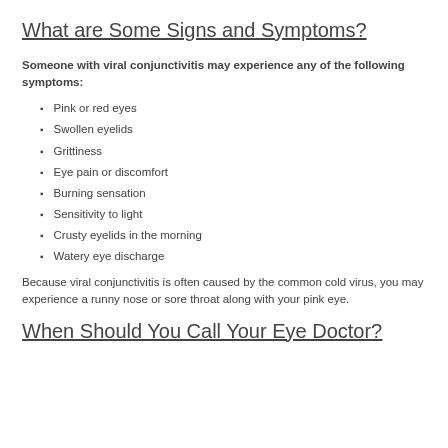What are Some Signs and Symptoms?
Someone with viral conjunctivitis may experience any of the following symptoms:
Pink or red eyes
Swollen eyelids
Grittiness
Eye pain or discomfort
Burning sensation
Sensitivity to light
Crusty eyelids in the morning
Watery eye discharge
Because viral conjunctivitis is often caused by the common cold virus, you may experience a runny nose or sore throat along with your pink eye.
When Should You Call Your Eye Doctor?